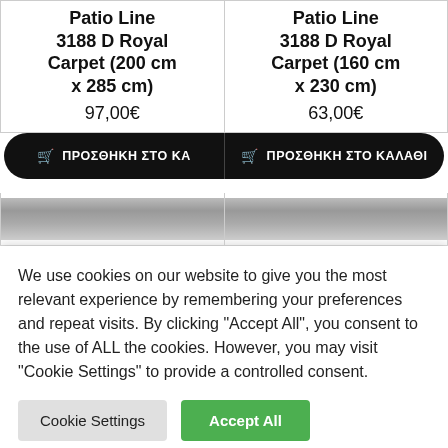Patio Line 3188 D Royal Carpet (200 cm x 285 cm)
97,00€
Patio Line 3188 D Royal Carpet (160 cm x 230 cm)
63,00€
🛒 ΠΡΟΣΘΗΚΗ ΣΤΟ ΚΑ
🛒 ΠΡΟΣΘΗΚΗ ΣΤΟ ΚΑΛΑΘΙ
[Figure (photo): Carpet product thumbnail image placeholder (left)]
[Figure (photo): Carpet product thumbnail image placeholder (right)]
We use cookies on our website to give you the most relevant experience by remembering your preferences and repeat visits. By clicking “Accept All”, you consent to the use of ALL the cookies. However, you may visit "Cookie Settings" to provide a controlled consent.
Cookie Settings
Accept All